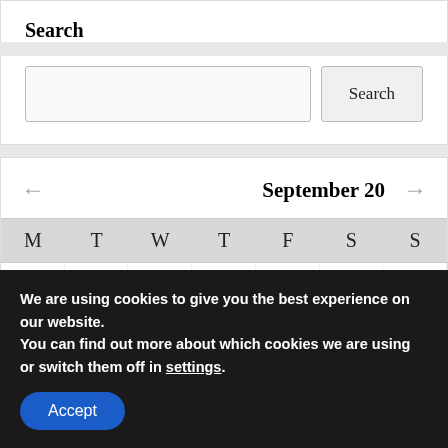Search
[Figure (screenshot): Search input box and Search button]
[Figure (screenshot): Calendar widget showing September 20 with navigation arrows and day headers M T W T F S S and first row with dates 1 2 3 4]
We are using cookies to give you the best experience on our website.
You can find out more about which cookies we are using or switch them off in settings.
Accept